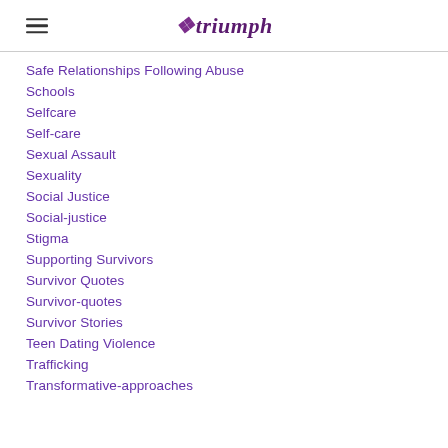triumph
Safe Relationships Following Abuse
Schools
Selfcare
Self-care
Sexual Assault
Sexuality
Social Justice
Social-justice
Stigma
Supporting Survivors
Survivor Quotes
Survivor-quotes
Survivor Stories
Teen Dating Violence
Trafficking
Transformative-approaches